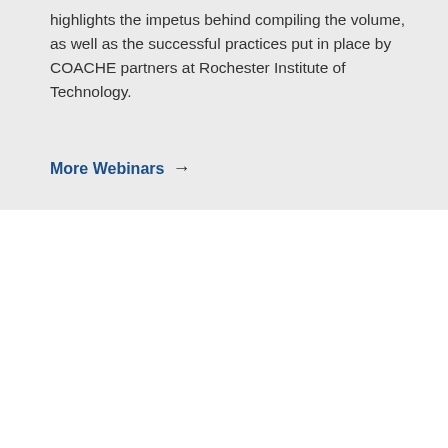highlights the impetus behind compiling the volume, as well as the successful practices put in place by COACHE partners at Rochester Institute of Technology.
More Webinars →